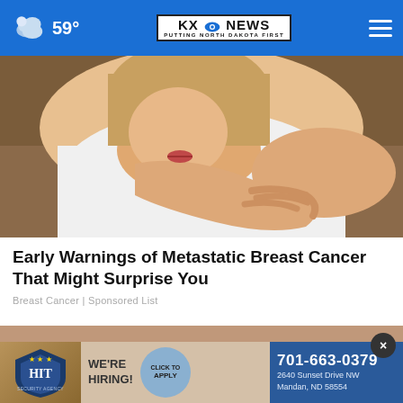59° KXO NEWS PUTTING NORTH DAKOTA FIRST
[Figure (photo): Woman in white t-shirt clutching her chest with both hands, sitting on a brown couch, suggesting chest pain or breast discomfort]
Early Warnings of Metastatic Breast Cancer That Might Surprise You
Breast Cancer | Sponsored List
[Figure (photo): Advertisement banner for Independence HIT Security Agency: We're Hiring! Click To Apply. 701-663-0379, 2640 Sunset Drive NW, Mandan, ND 58554. Close button (×) visible.]